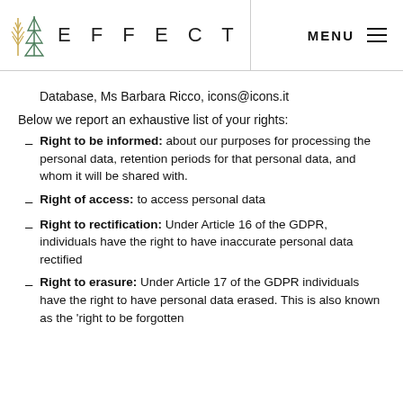EFFECT   MENU
Database, Ms Barbara Ricco, icons@icons.it
Below we report an exhaustive list of your rights:
Right to be informed: about our purposes for processing the personal data, retention periods for that personal data, and whom it will be shared with.
Right of access: to access personal data
Right to rectification: Under Article 16 of the GDPR, individuals have the right to have inaccurate personal data rectified
Right to erasure: Under Article 17 of the GDPR individuals have the right to have personal data erased. This is also known as the ‘right to be forgotten